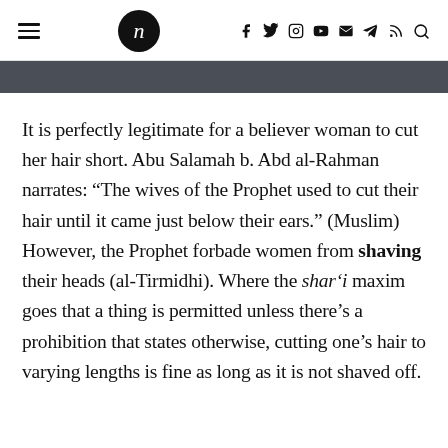n [logo] f y [instagram] [youtube] [email] [telegram] [rss] [search]
It is perfectly legitimate for a believer woman to cut her hair short. Abu Salamah b. Abd al-Rahman narrates: “The wives of the Prophet used to cut their hair until it came just below their ears.” (Muslim) However, the Prophet forbade women from shaving their heads (al-Tirmidhi). Where the shar‘i maxim goes that a thing is permitted unless there’s a prohibition that states otherwise, cutting one’s hair to varying lengths is fine as long as it is not shaved off.